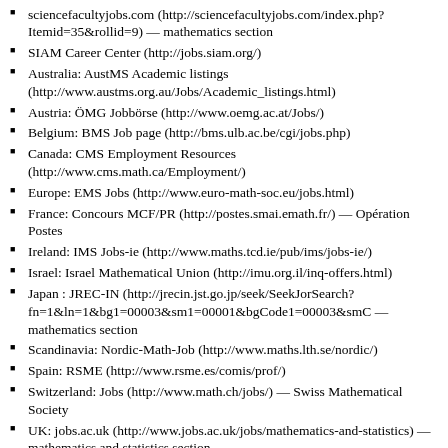sciencefacultyjobs.com (http://sciencefacultyjobs.com/index.php?Itemid=35&rollid=9) — mathematics section
SIAM Career Center (http://jobs.siam.org/)
Australia: AustMS Academic listings (http://www.austms.org.au/Jobs/Academic_listings.html)
Austria: ÖMG Jobbörse (http://www.oemg.ac.at/Jobs/)
Belgium: BMS Job page (http://bms.ulb.ac.be/cgi/jobs.php)
Canada: CMS Employment Resources (http://www.cms.math.ca/Employment/)
Europe: EMS Jobs (http://www.euro-math-soc.eu/jobs.html)
France: Concours MCF/PR (http://postes.smai.emath.fr/) — Opération Postes
Ireland: IMS Jobs-ie (http://www.maths.tcd.ie/pub/ims/jobs-ie/)
Israel: Israel Mathematical Union (http://imu.org.il/inq-offers.html)
Japan : JREC-IN (http://jrecin.jst.go.jp/seek/SeekJorSearch?fn=1&ln=1&bg1=00003&sm1=00001&bgCode1=00003&smC — mathematics section
Scandinavia: Nordic-Math-Job (http://www.maths.lth.se/nordic/)
Spain: RSME (http://www.rsme.es/comis/prof/)
Switzerland: Jobs (http://www.math.ch/jobs/) — Swiss Mathematical Society
UK: jobs.ac.uk (http://www.jobs.ac.uk/jobs/mathematics-and-statistics) — mathematics and statistics section